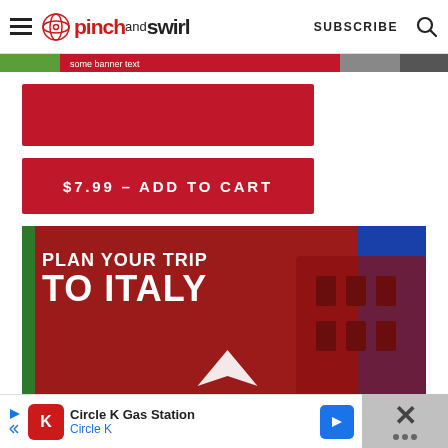pinch and swirl — SUBSCRIBE
[Figure (screenshot): Partial banner image strip at top]
[Figure (illustration): Red rectangle box (product/offer area)]
$7.99 – ADD TO CART
[Figure (photo): Plan Your Trip To Italy advertisement banner with Colosseum background]
[Figure (advertisement): Circle K Gas Station advertisement bar at bottom]